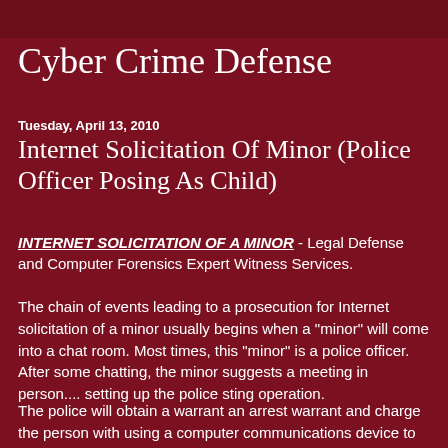Cyber Crime Defense
Tuesday, April 13, 2010
Internet Solicitation Of Minor (Police Officer Posing As Child)
INTERNET SOLICITATION OF A MINOR - Legal Defense and Computer Forensics Expert Witness Services.
The chain of events leading to a prosecution for Internet solicitation of a minor usually begins when a "minor" will come into a chat room. Most times, this "minor" is a police officer. After some chatting, the minor suggests a meeting in person.... setting up the police sting operation.
The police will obtain a warrant an arrest warrant and charge the person with using a computer communications device to solicit a minor and with attempted indecent liberties with a